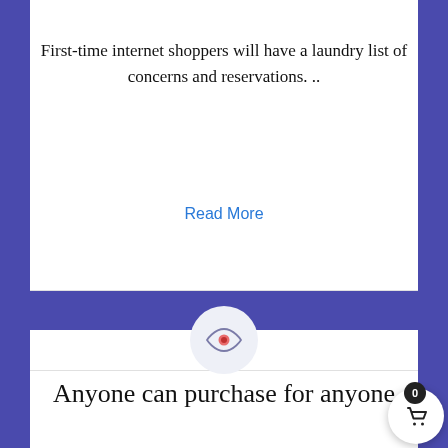First-time internet shoppers will have a laundry list of concerns and reservations. ..
Read More
[Figure (illustration): Eye icon inside a light gray circle, serving as a section divider icon]
Anyone can purchase for anyone
Online medication transactions are reasonably easy and secure. The digital pharmacy offers a variety of options and functions.
Read More